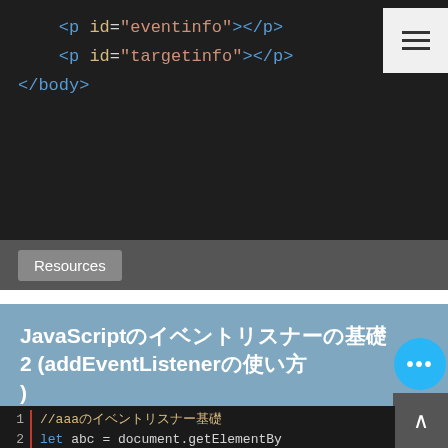[Figure (screenshot): Dark-themed code editor showing HTML snippet: <p id='eventinfo'></p> and <p id='targetinfo'></p> and </body>]
Resources
JavaScriptのイベントリスナーの基礎2 (addEventListenerの使い方)
[Figure (screenshot): Dark code editor with line numbers showing: 1 //aaaのイベントリスナー基礎 2 let abc = document.getElementBy...]